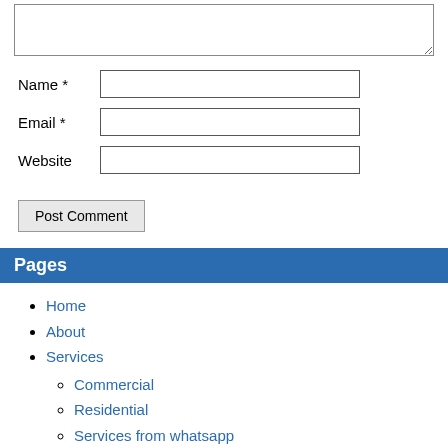[Figure (screenshot): Textarea input box at top of page]
Name *
Email *
Website
Post Comment
Pages
Home
About
Services
Commercial
Residential
Services from whatsapp
Enquiry
Location
Google Maps Platform rejected your request. This IP, site or mobile application is not authorized to use